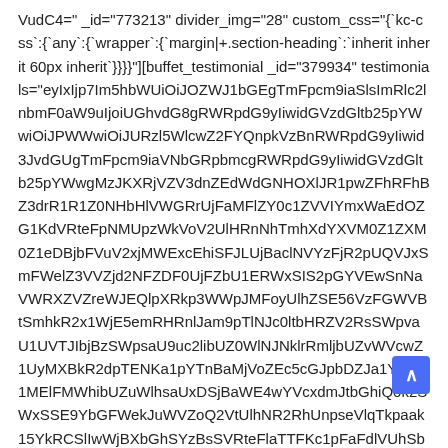VudC4=" _id="773213" divider_img="28" custom_css="{`kc-css`:{`any`:{`wrapper`:{`margin|+.section-heading`:`inherit inherit 60px inherit`}}}}"][buffet_testimonial _id="379934" testimonials="eyIxIjp7Im5hbWUiOiJOZWJ1bGEgTmFpcm9iaSlsImRlc2lnbmF0aW9uIjoiUGhvdG8gRWRpdG9yIiwiwidGVzdGltb25pYWwiOiJPWWwiOiJURzl5WlcwZ2FYQnpkVzBnRWRpdG9yIiwid3JvdGUgTmFpcm9iaVNbGRpbmcgRWRpdG9yIiwidGVzdGltb25pYWwgMzJKXRjVZV3dnZEdWdGNHOXlJR1ZwZFhRFhBZ3drR1R1Z0NHbHlVWGRrUjFaMFlY0c5eUlIYbHZaEdOZG1KdVRteFpNMUpzWkVoV2UlHRnNhIiwidGVxWVM0Z1ZXM0ZeDBjbFVnV2xjMWExcEhiSFJKUjBaclNVYzFjGpUQVJqSmFWelZ3VVZjd2NFZDF0UjFZbMERlbVJIS2pGYVEwSnNaVWRXZVZreWJEQlpXRkp3WWpJMFoyUlhZSE56VzFGWVBtSmhkR2x1WjE5emRHRnlJam9pTlNJc0ltbHRZV2RsSWpvaU1UVTJIn0sImhuc0lqbGlPbnNpYm1GdFpTSTZJa0ZpY21Gb1lXMGdVMjFwZEf9aUxDSmtaWE5wWjI1aGRHOXBiaWw2SWtWMlpXNTBJRTFoYm1GblpYbGlMQ0owWlhOMGFXMXZibWxoYkNJNklsUkhPWGxhVnpCbllWaENlbVJYTUdkYVJ6bHlZak5KWjJNeWJEQkpSMFowV2xoUmMwbEl UbXhaTTFKc1pFaFdlVUhSbXRoV0VGbllsZEdOVmxYZDJka1IxWjBZMGM1ZVVsSFZuQmtXRTUwWWpKUloyUkhWbkpqUnpsSVVkc2RWa3pWbWxSMDUyWW01T2JFa3pVbXhrU0ZaNVNVZEdjMkZZUmpGWlV6Um5WbGQ0TUdOdFJXZGFWelZyVmtSEl RmtKUnp2d1lsToD0lChJbHB6d1N1aEdNV0ZZVFdkaWJUbDZaRWhL